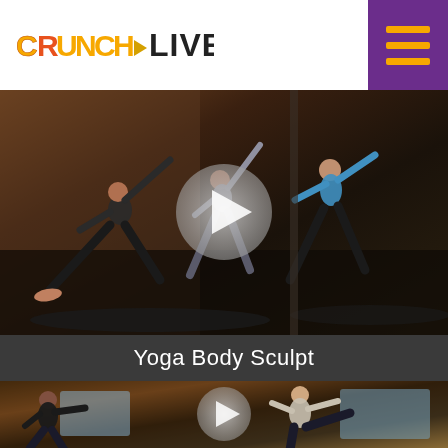[Figure (logo): Crunch Live logo with orange/yellow 'CRUNCH' text and hamburger menu icon on purple background in top right]
[Figure (photo): Yoga class photo with three women doing yoga poses in a dark studio with brick walls, play button overlay in center]
Yoga Body Sculpt
[Figure (photo): Kickboxing/fitness class photo with women in athletic poses in a brick studio, play button overlay in center]